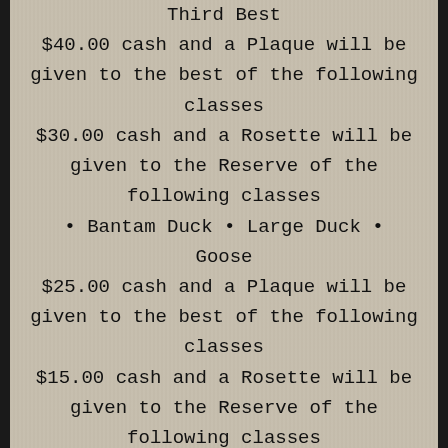Third Best
$40.00 cash and a Plaque will be given to the best of the following classes
$30.00 cash and a Rosette will be given to the Reserve of the following classes
• Bantam Duck • Large Duck • Goose
$25.00 cash and a Plaque will be given to the best of the following classes
$15.00 cash and a Rosette will be given to the Reserve of the following classes
• Light, Medium, Heavy Duck and Geese (Open Show)
$ 40.00 cash and an award to Champion W[obscured] shown by a